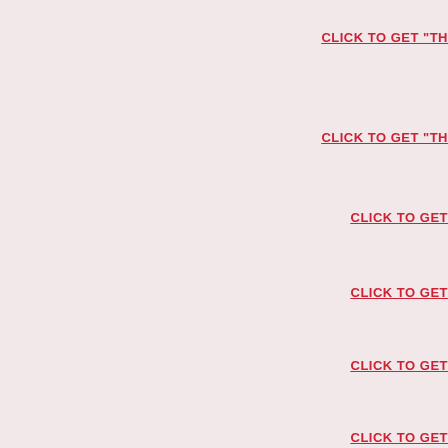CLICK TO GET "TH
CLICK TO GET "TH
CLICK TO GET
CLICK TO GET
CLICK TO GET
CLICK TO GET
CLICK TO GET